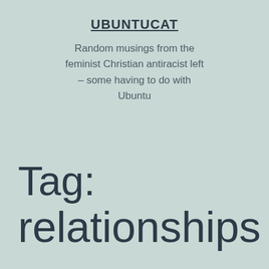UBUNTUCAT
Random musings from the feminist Christian antiracist left – some having to do with Ubuntu
Tag: relationships